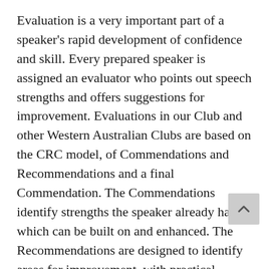Evaluation is a very important part of a speaker's rapid development of confidence and skill. Every prepared speaker is assigned an evaluator who points out speech strengths and offers suggestions for improvement. Evaluations in our Club and other Western Australian Clubs are based on the CRC model, of Commendations and Recommendations and a final Commendation. The Commendations identify strengths the speaker already has, which can be built on and enhanced. The Recommendations are designed to identify areas for improvement, with practical suggestions on how to achieve a better result. There are no criticisms or negative comments in our Evaluations.
There are evaluators assigned for the Table Topics